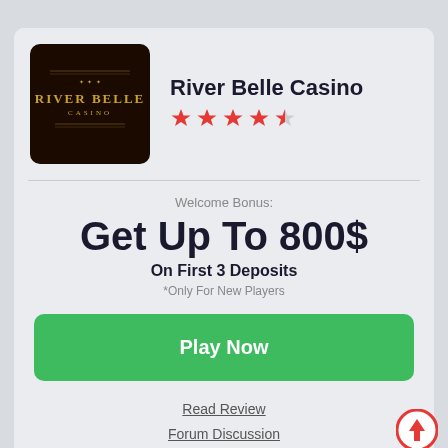[Figure (logo): River Belle Casino logo — dark brown/black square with gold 'RIVER BELLE CASINO' text]
River Belle Casino
[Figure (other): 4.5 red star rating]
Welcome Bonus:
Get Up To 800$
On First 3 Deposits
*Only For New Players
Play Now
Read Review
Forum Discussion